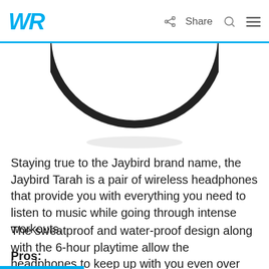WR  Share
[Figure (photo): Partial view of Jaybird Tarah wireless headphones, showing the circular band/arc of the headphone from above on a white background]
Staying true to the Jaybird brand name, the Jaybird Tarah is a pair of wireless headphones that provide you with everything you need to listen to music while going through intense workouts.
The sweatproof and water-proof design along with the 6-hour playtime allow the headphones to keep up with you even over extended periods of intense fitness activities.
Pros: